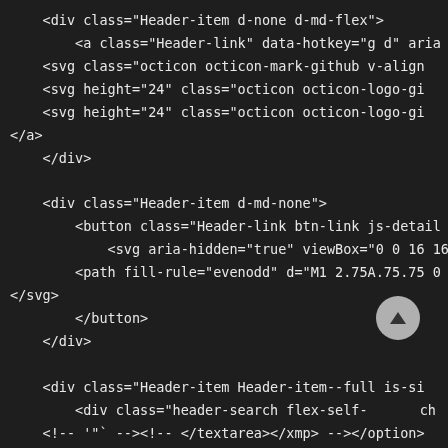<div class="Header-item d-none d-md-flex">
        <a class="Header-link" data-hotkey="g d" aria
    <svg class="octicon octicon-mark-github v-align
    <svg height="24" class="octicon octicon-logo-gi
    <svg height="24" class="octicon octicon-logo-gi
</a>
    </div>

    <div class="Header-item d-md-none">
        <button class="Header-link btn-link js-detail
            <svg aria-hidden="true" viewBox="0 0 16 16"
        <path fill-rule="evenodd" d="M1 2.75A.75.75 0
</svg>
        </button>
    </div>

    <div class="Header-item Header-item--full is-si
        <div class="header-search flex-self-        ch
    <!-- '"` -->
<!-- </textarea></xmp> --></option>
        <div class="header-search-wrapper form-contro
        <input type="text"
            class="form-control-input cm js-site-sear